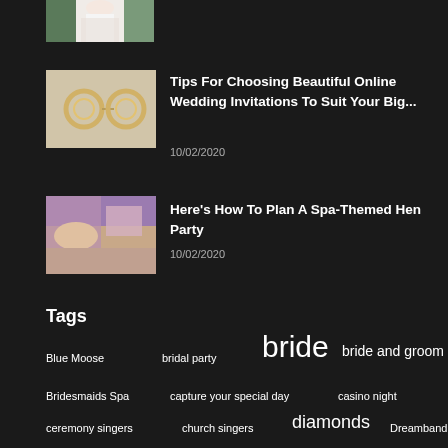[Figure (photo): Partial view of bride at top of page, cropped]
[Figure (photo): Photo of wedding rings on light background]
Tips For Choosing Beautiful Online Wedding Invitations To Suit Your Big...
10/02/2020
[Figure (photo): Photo of spa massage scene]
Here's How To Plan A Spa-Themed Hen Party
10/02/2020
Tags
Blue Moose
bridal party
bride
bride and groom
Bridesmaids Spa
capture your special day
casino night
ceremony singers
church singers
diamonds
Dreamband
Drone Wedding Photography
engagement
engagement rings